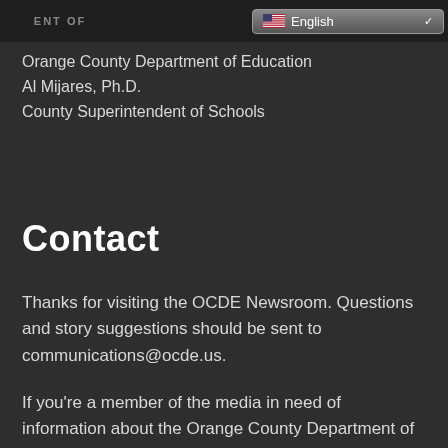ENT OF  English
Orange County Department of Education
Al Mijares, Ph.D.
County Superintendent of Schools
Contact
Thanks for visiting the OCDE Newsroom. Questions and story suggestions should be sent to communications@ocde.us.
If you're a member of the media in need of information about the Orange County Department of